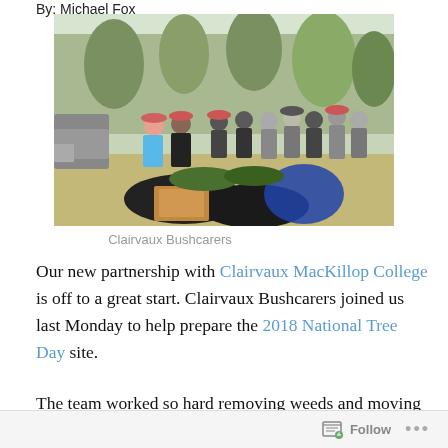By: Michael Fox
[Figure (photo): Group of students and adults (Clairvaux Bushcarers) standing outdoors near trees, wearing hats, with black garbage bags and boxes of plants/weeds in the foreground, and a car on the left.]
Clairvaux Bushcarers
Our new partnership with Clairvaux MacKillop College is off to a great start. Clairvaux Bushcarers joined us last Monday to help prepare the 2018 National Tree Day site.
The team worked so hard removing weeds and moving
Follow